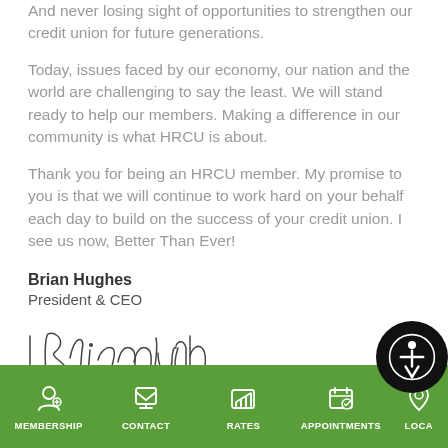And never losing sight of opportunities to strengthen our credit union for future generations.
Today, issues faced by our economy, our nation and the world are challenging to say the least. We will stand ready to help our members. Making a difference in our community is what HRCU is about.
Thank you for being an HRCU member. My promise to you is that we will continue to work hard on your behalf each day to build on the success of your credit union. I see us now, Better Than Ever!
Brian Hughes
President & CEO
[Figure (illustration): Handwritten signature of Brian Hughes]
MEMBERSHIP   CONTACT   RATES   APPOINTMENTS   LOCA